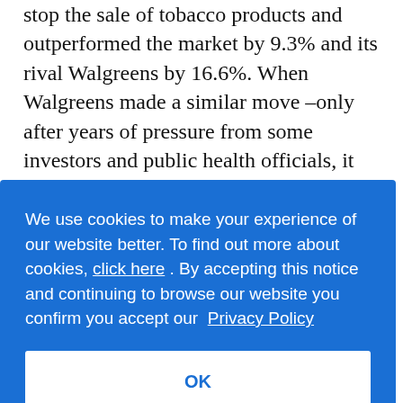stop the sale of tobacco products and outperformed the market by 9.3% and its rival Walgreens by 16.6%. When Walgreens made a similar move –only after years of pressure from some investors and public health officials, it got no such bounce.

Now, considering the latest social upheaval, the likelihood Roe v. Wade will be overturned, retailers with ... they're ... doing ... cost ... uld ... sy but ... n turn,
We use cookies to make your experience of our website better. To find out more about cookies, click here . By accepting this notice and continuing to browse our website you confirm you accept our Privacy Policy

OK